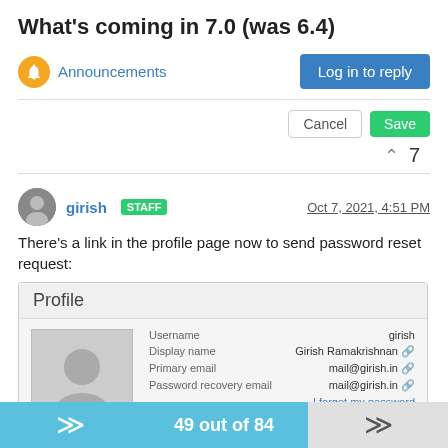What's coming in 7.0 (was 6.4)
Announcements
Log in to reply
Cancel   Save
^ 7
girish STAFF   Oct 7, 2021, 4:51 PM
There's a link in the profile page now to send password reset request:
[Figure (screenshot): Screenshot of a user profile page showing fields: Username (girish), Display name (Girish Ramakrishnan), Primary email (mail@girish.in), Password recovery email (mail@girish.in), with 'I forgot my password' link in blue, and a Language dropdown set to English.]
49 out of 84